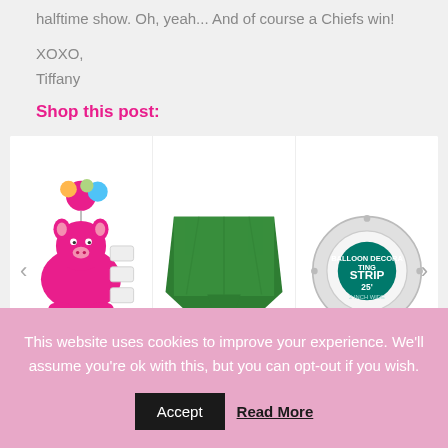halftime show. Oh, yeah... And of course a Chiefs win!
XOXO,
Tiffany
Shop this post:
[Figure (photo): A carousel of 3 product images: a pink piggy balloon pump with colorful balloons and accessories, a green plastic tablecloth draped over a table, and a balloon decorating strip dispenser (25 feet, 2 inches wide).]
This website uses cookies to improve your experience. We'll assume you're ok with this, but you can opt-out if you wish.